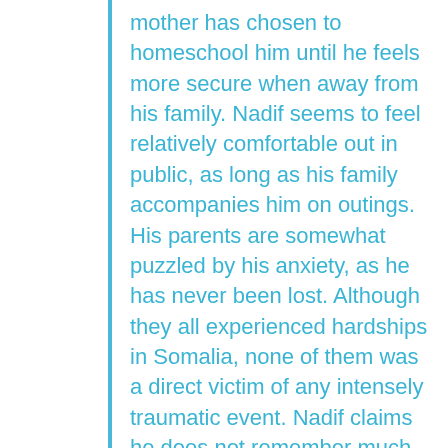mother has chosen to homeschool him until he feels more secure when away from his family. Nadif seems to feel relatively comfortable out in public, as long as his family accompanies him on outings. His parents are somewhat puzzled by his anxiety, as he has never been lost. Although they all experienced hardships in Somalia, none of them was a direct victim of any intensely traumatic event. Nadif claims he does not remember much of his time in Somalia. His family hopes therapy will help Nadif feel calmer when they are not